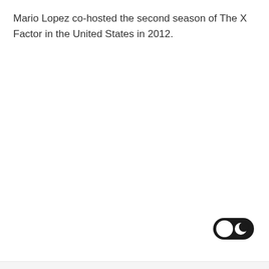Mario Lopez co-hosted the second season of The X Factor in the United States in 2012.
[Figure (other): Dark mode toggle switch UI element. A rounded rectangle toggle in dark/black color with a white circular knob on the left side and a crescent moon icon on the right side, indicating dark mode option.]